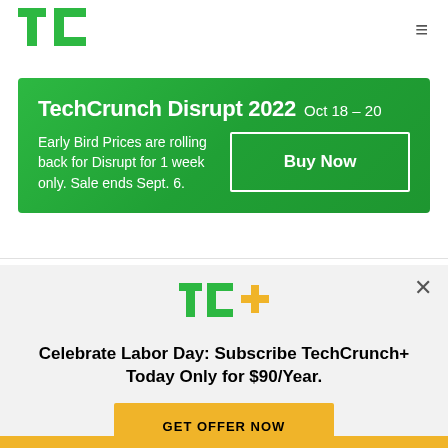TechCrunch logo and navigation menu
[Figure (infographic): TechCrunch Disrupt 2022 green promotional banner with Buy Now button. Text: TechCrunch Disrupt 2022 Oct 18-20. Early Bird Prices are rolling back for Disrupt for 1 week only. Sale ends Sept. 6.]
[Figure (infographic): TC+ subscription modal on light grey background. Celebrate Labor Day: Subscribe TechCrunch+ Today Only for $90/Year. GET OFFER NOW button in gold/yellow.]